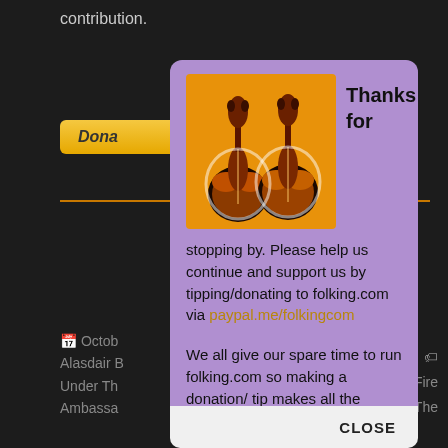contribution.
Dona
October
Alasdair B
Under Th
Ambassa
Fire
ge, The
PREVIOUS
THE L
MG)
NEXT
Kirstu
albu
io
[Figure (screenshot): Popup modal with purple background showing two violins on orange background, with text: Thanks for stopping by. Please help us continue and support us by tipping/donating to folking.com via paypal.me/folkingcom. We all give our spare time to run folking.com so making a donation/tip makes all the... CLOSE button at bottom.]